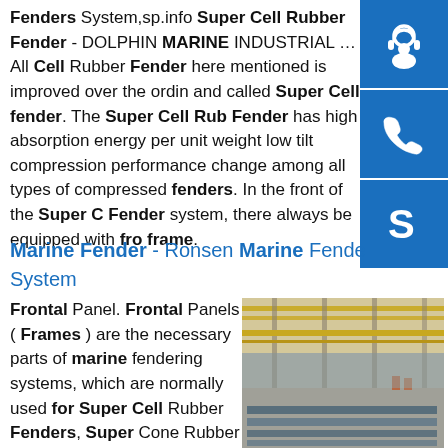Fenders System,sp.info Super Cell Rubber Fender - DOLPHIN MARINE INDUSTRIAL ...All Cell Rubber Fender here mentioned is improved over the ordin and called Super Cell fender. The Super Cell Rubber Fender has high absorption energy per unit weight low tilt compression performance change among all types of compressed fenders. In the front of the Super Cell Fender system, there always be equipped with frontal frame.
Marine Fender - Ronsen Marine Fender System
Frontal Panel. Frontal Panels ( Frames ) are the necessary parts of marine fendering systems, which are normally used for Super Cell Rubber Fenders, Super Cone Rubber Fenders, Leg...
[Figure (photo): Interior of a large industrial factory or warehouse with steel beams and structural components laid out on the floor, with overhead crane rails visible.]